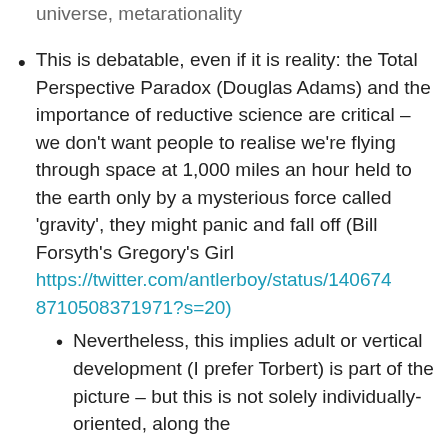universe, metarationality
This is debatable, even if it is reality: the Total Perspective Paradox (Douglas Adams) and the importance of reductive science are critical – we don't want people to realise we're flying through space at 1,000 miles an hour held to the earth only by a mysterious force called 'gravity', they might panic and fall off (Bill Forsyth's Gregory's Girl https://twitter.com/antlerboy/status/1406748710508371971?s=20)
Nevertheless, this implies adult or vertical development (I prefer Torbert) is part of the picture – but this is not solely individually-oriented, along the